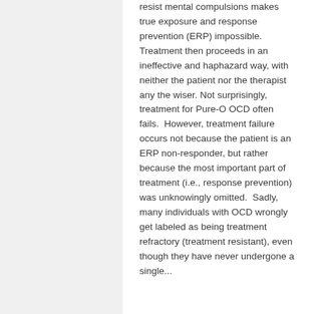resist mental compulsions makes true exposure and response prevention (ERP) impossible.  Treatment then proceeds in an ineffective and haphazard way, with neither the patient nor the therapist any the wiser. Not surprisingly, treatment for Pure-O OCD often fails.  However, treatment failure occurs not because the patient is an ERP non-responder, but rather because the most important part of treatment (i.e., response prevention) was unknowingly omitted.  Sadly, many individuals with OCD wrongly get labeled as being treatment refractory (treatment resistant), even though they have never undergone a single...
Exposure & Response Prevention (ERP) for OCD: Treatment Mechanism